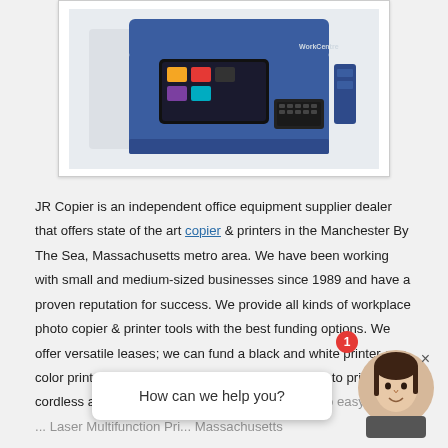[Figure (photo): Photo of a blue Xerox multifunction copier/printer with a large touchscreen display showing colorful app icons, partially cropped, on a white background inside a light grey framed box.]
JR Copier is an independent office equipment supplier dealer that offers state of the art copier & printers in the Manchester By The Sea, Massachusetts metro area. We have been working with small and medium-sized businesses since 1989 and have a proven reputation for success. We provide all kinds of workplace photo copier & printer tools with the best funding options. We offer versatile leases; we can fund a black and white printer or a color printer. Whatever from all-in-one photocopier to printer, cordless and image printers. procurement and also easy leasing ... Laser Multifunction Pri... Massachusetts